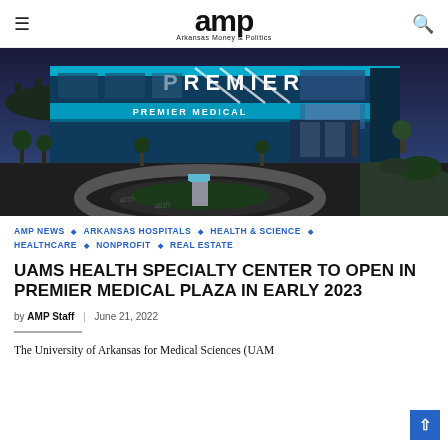amp — Arkansas Money & Politics
[Figure (photo): Exterior night/dusk photo of Premier Medical Plaza building with illuminated 'PREMIER' sign and 'PREMIER MEDICAL' text on the facade, with a circular drive in the foreground.]
AMP NEWS ◇ ARKANSAS HOSPITALS ◇ HEALTH & SCIENCE ◇ HEALTHCARE ◇ NONPROFIT ◇ REAL ESTATE
UAMS HEALTH SPECIALTY CENTER TO OPEN IN PREMIER MEDICAL PLAZA IN EARLY 2023
by AMP Staff | June 21, 2022
The University of Arkansas for Medical Sciences (UAM